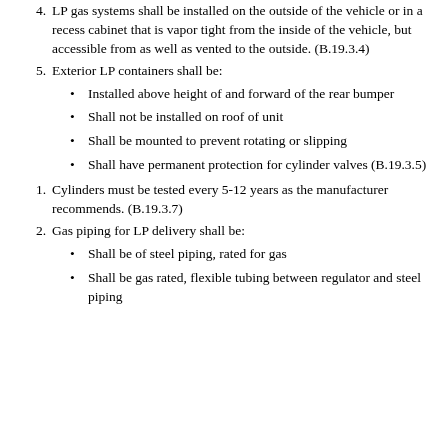4. LP gas systems shall be installed on the outside of the vehicle or in a recess cabinet that is vapor tight from the inside of the vehicle, but accessible from as well as vented to the outside. (B.19.3.4)
5. Exterior LP containers shall be:
Installed above height of and forward of the rear bumper
Shall not be installed on roof of unit
Shall be mounted to prevent rotating or slipping
Shall have permanent protection for cylinder valves (B.19.3.5)
1. Cylinders must be tested every 5-12 years as the manufacturer recommends. (B.19.3.7)
2. Gas piping for LP delivery shall be:
Shall be of steel piping, rated for gas
Shall be gas rated, flexible tubing between regulator and steel piping